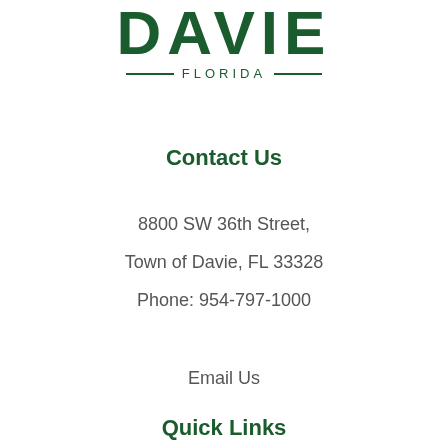[Figure (logo): Town of Davie, Florida logo — large bold green text 'DAVIE' with '— FLORIDA —' below]
Contact Us
8800 SW 36th Street,
Town of Davie, FL 33328
Phone: 954-797-1000
Email Us
Quick Links